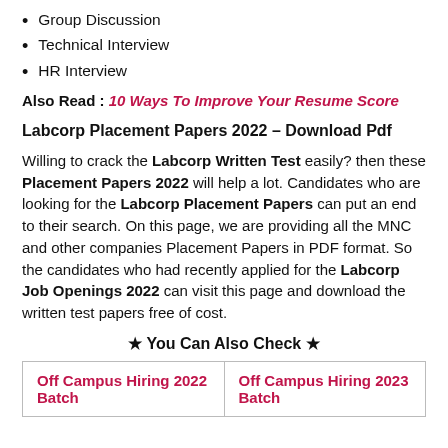Group Discussion
Technical Interview
HR Interview
Also Read : 10 Ways To Improve Your Resume Score
Labcorp Placement Papers 2022 – Download Pdf
Willing to crack the Labcorp Written Test easily? then these Placement Papers 2022 will help a lot. Candidates who are looking for the Labcorp Placement Papers can put an end to their search. On this page, we are providing all the MNC and other companies Placement Papers in PDF format. So the candidates who had recently applied for the Labcorp Job Openings 2022 can visit this page and download the written test papers free of cost.
★ You Can Also Check ★
| Off Campus Hiring 2022 Batch | Off Campus Hiring 2023 Batch |